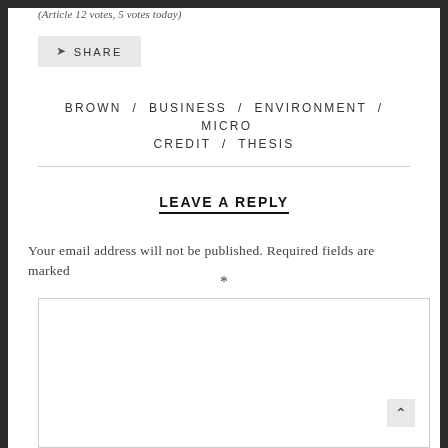(Article 12 votes, 5 votes today)
SHARE
BROWN / BUSINESS / ENVIRONMENT / MICRO CREDIT / THESIS
LEAVE A REPLY
Your email address will not be published. Required fields are marked *